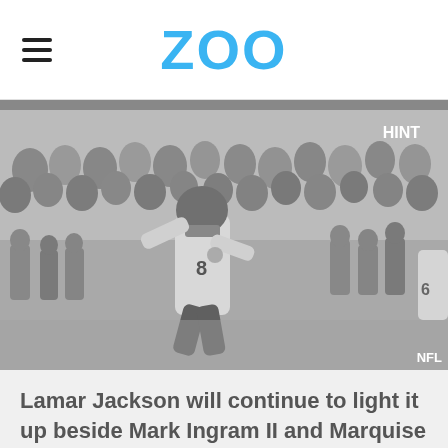ZOO
[Figure (photo): Grayscale photo of NFL quarterback Lamar Jackson wearing jersey number 8 running on the field with crowd in background. 'HINT' label in upper right, 'NFL' watermark in lower right.]
Lamar Jackson will continue to light it up beside Mark Ingram II and Marquise Brown on what team?